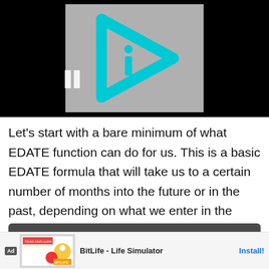[Figure (screenshot): Video player thumbnail showing a gray background with a cyan/turquoise play button icon containing an 'i' letter. Black background surrounding the thumbnail. Loading text visible. Pause bars visible at bottom left.]
Let's start with a bare minimum of what EDATE function can do for us. This is a basic EDATE formula that will take us to a certain number of months into the future or in the past, depending on what we enter in the months argument.